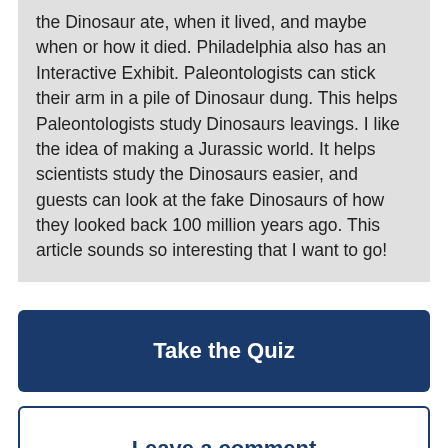the Dinosaur ate, when it lived, and maybe when or how it died. Philadelphia also has an Interactive Exhibit. Paleontologists can stick their arm in a pile of Dinosaur dung. This helps Paleontologists study Dinosaurs leavings. I like the idea of making a Jurassic world. It helps scientists study the Dinosaurs easier, and guests can look at the fake Dinosaurs of how they looked back 100 million years ago. This article sounds so interesting that I want to go!
Take the Quiz
Leave a comment